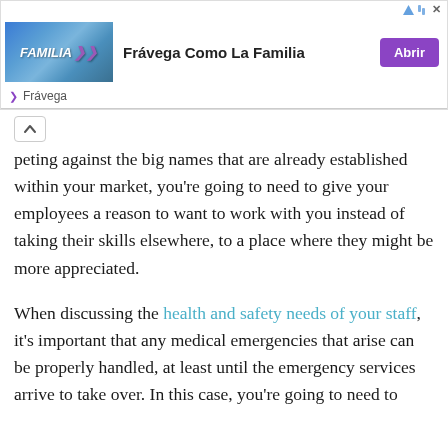[Figure (screenshot): Advertisement banner for Frávega with text 'Frávega Como La Familia' and a purple 'Abrir' button, featuring a family photo thumbnail and navigation arrow icons]
peting against the big names that are already established within your market, you're going to need to give your employees a reason to want to work with you instead of taking their skills elsewhere, to a place where they might be more appreciated.

When discussing the health and safety needs of your staff, it's important that any medical emergencies that arise can be properly handled, at least until the emergency services arrive to take over. In this case, you're going to need to